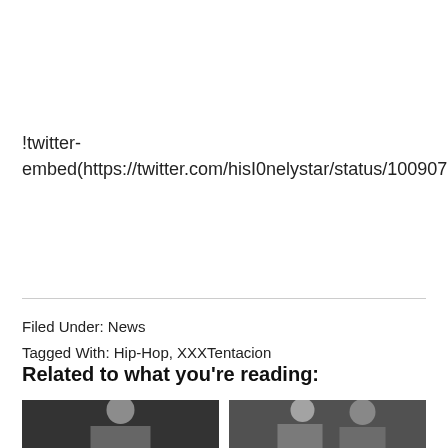!twitter-embed(https://twitter.com/hisI0nelystar/status/1009075866259935233)
Filed Under: News
Tagged With: Hip-Hop, XXXTentacion
Related to what you're reading:
[Figure (photo): Two thumbnail photos side by side: left shows a light-haired performer on stage, right shows two people at an event.]